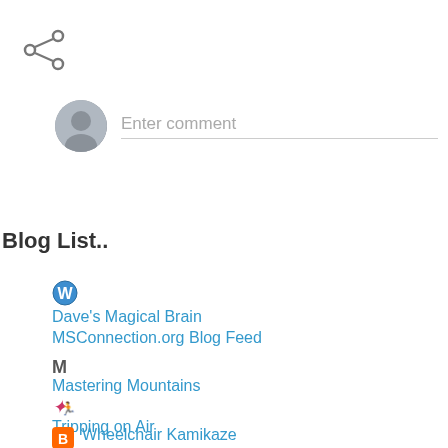[Figure (illustration): Share icon (three connected dots network/share symbol) in dark gray]
[Figure (illustration): Gray avatar/profile placeholder circle with silhouette, next to 'Enter comment' text field with bottom border]
Blog List..
Dave's Magical Brain
MSConnection.org Blog Feed
Mastering Mountains
Tripping on Air
Wheelchair Kamikaze